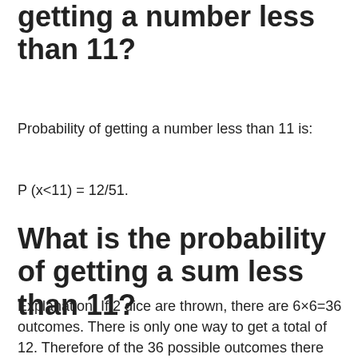What is the probability of getting a number less than 11?
Probability of getting a number less than 11 is:
What is the probability of getting a sum less than 11?
Explanation: If 2 dice are thrown, there are 6×6=36 outcomes. There is only one way to get a total of 12. Therefore of the 36 possible outcomes there are 3 that do not meet the requirement of being less than 11.